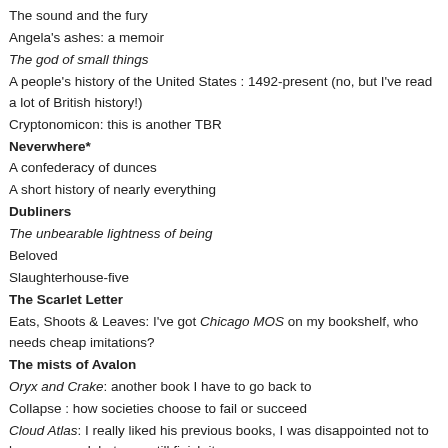The sound and the fury
Angela's ashes: a memoir
The god of small things
A people's history of the United States : 1492-present (no, but I've read a lot of British history!)
Cryptonomicon: this is another TBR
Neverwhere*
A confederacy of dunces
A short history of nearly everything
Dubliners
The unbearable lightness of being
Beloved
Slaughterhouse-five
The Scarlet Letter
Eats, Shoots & Leaves: I've got Chicago MOS on my bookshelf, who needs cheap imitations?
The mists of Avalon
Oryx and Crake: another book I have to go back to
Collapse : how societies choose to fail or succeed
Cloud Atlas: I really liked his previous books, I was disappointed not to be engrossed, but may still finish it
The Confusion